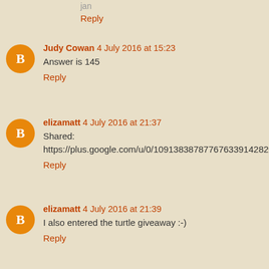jan
Reply
Judy Cowan 4 July 2016 at 15:23
Answer is 145
Reply
elizamatt 4 July 2016 at 21:37
Shared: https://plus.google.com/u/0/109138387877676339142820posts/PgpniUhGVuK
Reply
elizamatt 4 July 2016 at 21:39
I also entered the turtle giveaway :-)
Reply